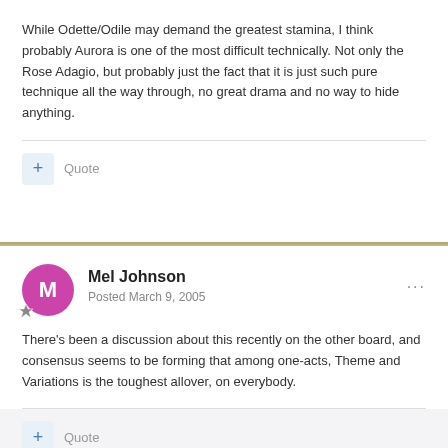While Odette/Odile may demand the greatest stamina, I think probably Aurora is one of the most difficult technically. Not only the Rose Adagio, but probably just the fact that it is just such pure technique all the way through, no great drama and no way to hide anything.
+ Quote
Mel Johnson
Posted March 9, 2005
There's been a discussion about this recently on the other board, and consensus seems to be forming that among one-acts, Theme and Variations is the toughest allover, on everybody.
+ Quote